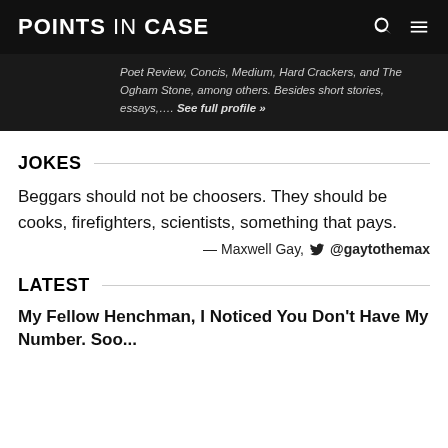POINTS IN CASE
Poet Review, Concis, Medium, Hard Crackers, and The Ogham Stone, among others. Besides short stories, essays,.... See full profile »
JOKES
Beggars should not be choosers. They should be cooks, firefighters, scientists, something that pays.
— Maxwell Gay, @gaytothemax
LATEST
My Fellow Henchman, I Noticed You Don't Have My Number. Soo...